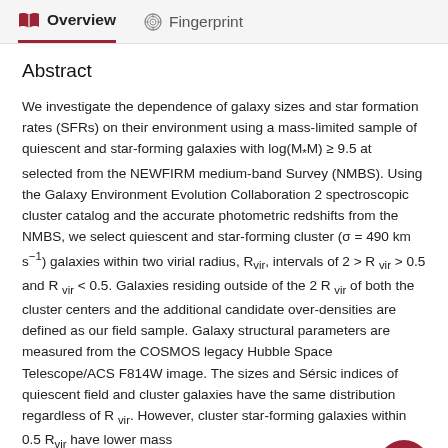Overview   Fingerprint
Abstract
We investigate the dependence of galaxy sizes and star formation rates (SFRs) on their environment using a mass-limited sample of quiescent and star-forming galaxies with log(M∗M) ≥ 9.5 at selected from the NEWFIRM medium-band Survey (NMBS). Using the Galaxy Environment Evolution Collaboration 2 spectroscopic cluster catalog and the accurate photometric redshifts from the NMBS, we select quiescent and star-forming cluster (σ = 490 km s⁻¹) galaxies within two virial radius, Rᵥᵢᵣ, intervals of 2 > R vir > 0.5 and R vir < 0.5. Galaxies residing outside of the 2 R vir of both the cluster centers and the additional candidate over-densities are defined as our field sample. Galaxy structural parameters are measured from the COSMOS legacy Hubble Space Telescope/ACS F814W image. The sizes and Sérsic indices of quiescent field and cluster galaxies have the same distribution regardless of R vir. However, cluster star-forming galaxies within 0.5 R vir have lower mass...